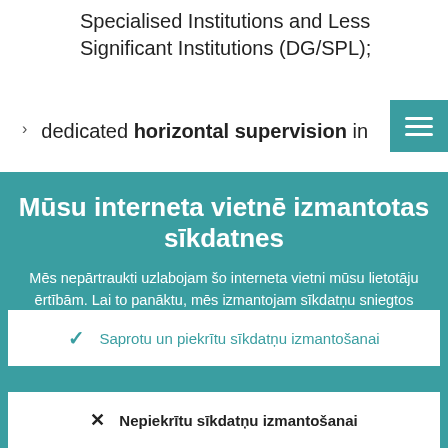Specialised Institutions and Less Significant Institutions (DG/SPL);
dedicated horizontal supervision in the Directorate General Institute...
Mūsu interneta vietnē izmantotas sīkdatnes
Mēs nepārtraukti uzlabojam šo interneta vietni mūsu lietotāju ērtībām. Lai to panāktu, mēs izmantojam sīkdatņu sniegtos anonīmos datus.
Sīkāka informācija par sīkdatņu izmantošanu
Saprotu un piekrītu sīkdatņu izmantošanai
Nepiekrītu sīkdatņu izmantošanai